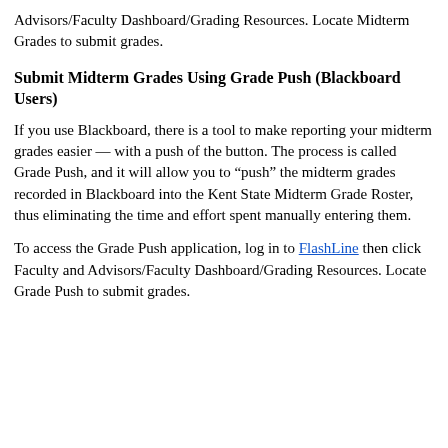Advisors/Faculty Dashboard/Grading Resources. Locate Midterm Grades to submit grades.
Submit Midterm Grades Using Grade Push (Blackboard Users)
If you use Blackboard, there is a tool to make reporting your midterm grades easier — with a push of the button. The process is called Grade Push, and it will allow you to “push” the midterm grades recorded in Blackboard into the Kent State Midterm Grade Roster, thus eliminating the time and effort spent manually entering them.
To access the Grade Push application, log in to FlashLine then click Faculty and Advisors/Faculty Dashboard/Grading Resources. Locate Grade Push to submit grades.